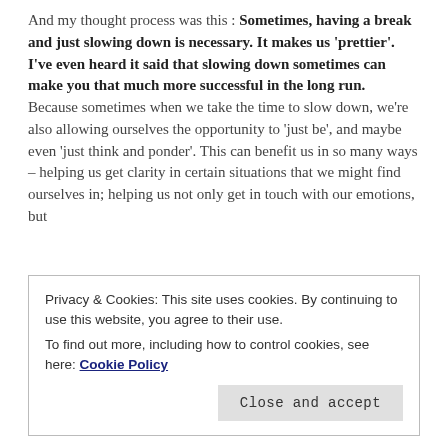And my thought process was this : Sometimes, having a break and just slowing down is necessary. It makes us 'prettier'. I've even heard it said that slowing down sometimes can make you that much more successful in the long run. Because sometimes when we take the time to slow down, we're also allowing ourselves the opportunity to 'just be', and maybe even 'just think and ponder'. This can benefit us in so many ways – helping us get clarity in certain situations that we might find ourselves in; helping us not only get in touch with our emotions, but
Privacy & Cookies: This site uses cookies. By continuing to use this website, you agree to their use. To find out more, including how to control cookies, see here: Cookie Policy